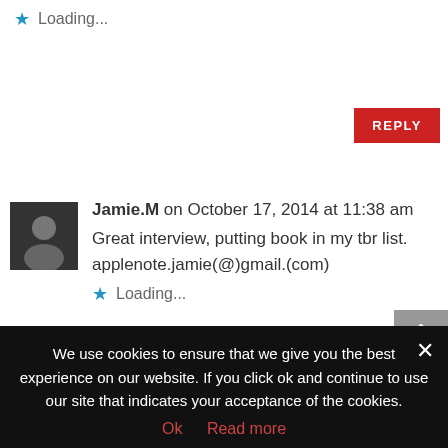Loading...
REPLY
Jamie.M on October 17, 2014 at 11:38 am
Great interview, putting book in my tbr list. applenote.jamie(@)gmail.(com)
Loading...
REPLY
Heather Hill on October 17, 2014 at 11:56 am
We use cookies to ensure that we give you the best experience on our website. If you click ok and continue to use our site that indicates your acceptance of the cookies.
Ok  Read more